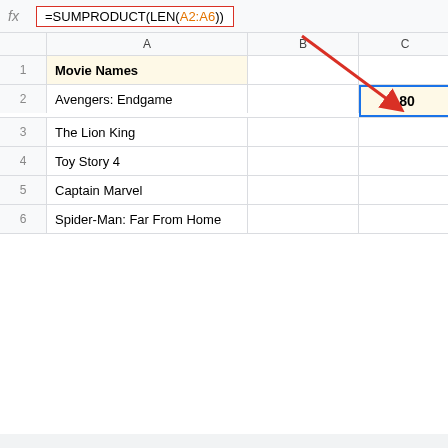[Figure (screenshot): Google Sheets spreadsheet showing a formula bar with =SUMPRODUCT(LEN(A2:A6)), a data column 'Movie Names' with 5 movie titles (Avengers: Endgame, The Lion King, Toy Story 4, Captain Marvel, Spider-Man: Far From Home), and a result cell in column C row 2 showing 80. A red arrow annotation points from the formula bar to the result cell.]
|  | A | B | C |
| --- | --- | --- | --- |
| 1 | Movie Names |  |  |
| 2 | Avengers: Endgame |  | 80 |
| 3 | The Lion King |  |  |
| 4 | Toy Story 4 |  |  |
| 5 | Captain Marvel |  |  |
| 6 | Spider-Man: Far From Home |  |  |